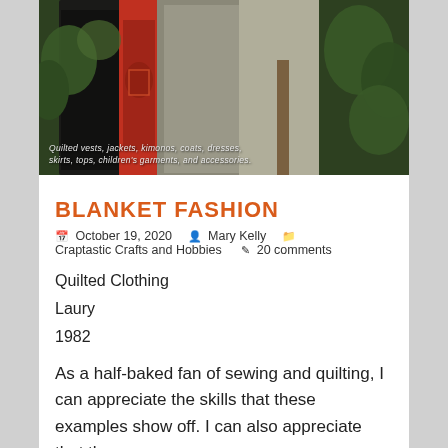[Figure (photo): Photo of two people wearing quilted coats/garments standing in a garden with green plants. Overlay text reads: Quilted vests, jackets, kimonos, coats, dresses, skirts, tops, children's garments, and accessories.]
BLANKET FASHION
October 19, 2020   Mary Kelly   Craptastic Crafts and Hobbies   20 comments
Quilted Clothing
Laury
1982
As a half-baked fan of sewing and quilting, I can appreciate the skills that these examples show off. I can also appreciate that they are